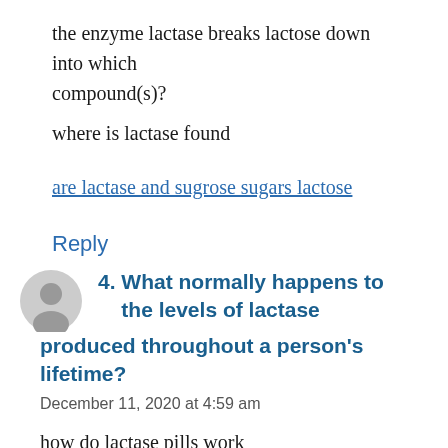the enzyme lactase breaks lactose down into which compound(s)?
where is lactase found
are lactase and sugrose sugars lactose
Reply
4. What normally happens to the levels of lactase produced throughout a person's lifetime?
December 11, 2020 at 4:59 am
how do lactase pills work